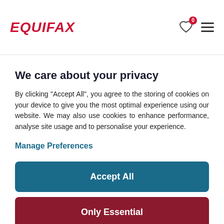Equifax
Account Manager
We care about your privacy
By clicking "Accept All", you agree to the storing of cookies on your device to give you the most optimal experience using our website. We may also use cookies to enhance performance, analyse site usage and to personalise your experience.
Manage Preferences
Accept All
Only Essential